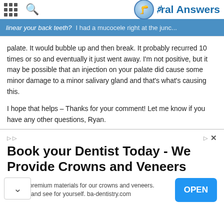Oral Answers
palate. It would bubble up and then break. It probably recurred 10 times or so and eventually it just went away. I'm not positive, but it may be possible that an injection on your palate did cause some minor damage to a minor salivary gland and that's what's causing this.
I hope that helps – Thanks for your comment! Let me know if you have any other questions, Ryan.
Reply
Kayla
Jan 1, 2017 at 6:06 PM
...nious problems last week, but since have been fine. Now all
[Figure (infographic): Advertisement banner: Book your Dentist Today - We Provide Crowns and Veneers. We use premium materials for our crowns and veneers. Come in and see for yourself. ba-dentistry.com. OPEN button.]